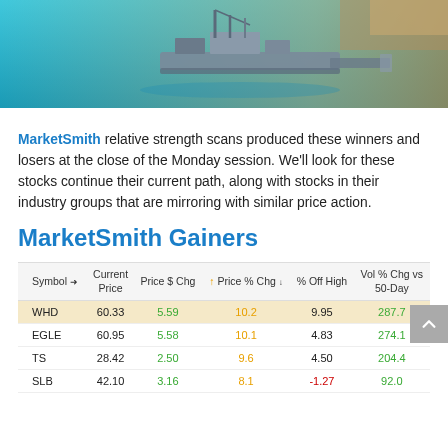[Figure (photo): Aerial photo of an oil/gas offshore platform or ship on turquoise blue water, viewed from above, with industrial structures visible.]
MarketSmith relative strength scans produced these winners and losers at the close of the Monday session. We'll look for these stocks continue their current path, along with stocks in their industry groups that are mirroring with similar price action.
MarketSmith Gainers
| Symbol | Current Price | Price $ Chg | ↑ Price % Chg ↓ | % Off High | Vol % Chg vs 50-Day |
| --- | --- | --- | --- | --- | --- |
| WHD | 60.33 | 5.59 | 10.2 | 9.95 | 287.7 |
| EGLE | 60.95 | 5.58 | 10.1 | 4.83 | 274.1 |
| TS | 28.42 | 2.50 | 9.6 | 4.50 | 204.4 |
| SLB | 42.10 | 3.16 | 8.1 | -1.27 | 92.0 |